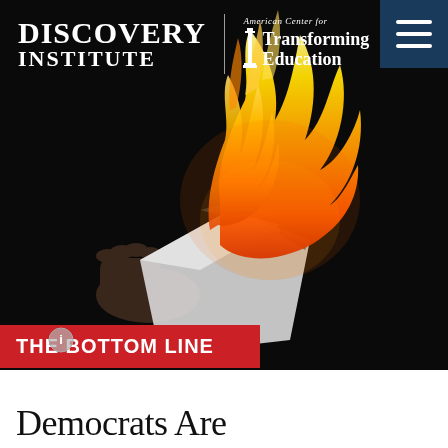[Figure (photo): A hand holding a burning piece of paper with large orange and yellow flames against a black background, symbolizing destruction of documents or books.]
DISCOVERY INSTITUTE | American Center for Transforming Education
THE BOTTOM LINE
Democrats Are